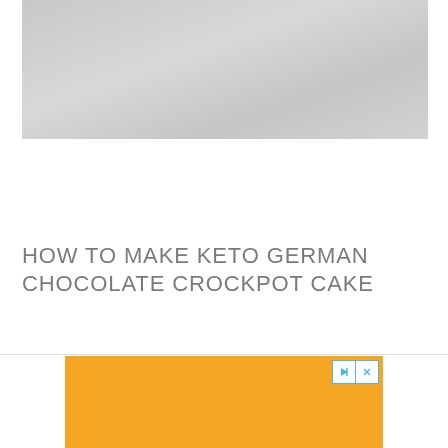[Figure (photo): Top portion of a photo showing a light gray/white surface, likely a food or kitchen-related image that is partially cropped.]
HOW TO MAKE KETO GERMAN CHOCOLATE CROCKPOT CAKE
[Figure (other): Orange advertisement banner with a play/skip button (triangle) and close button (X) in the top right corner.]